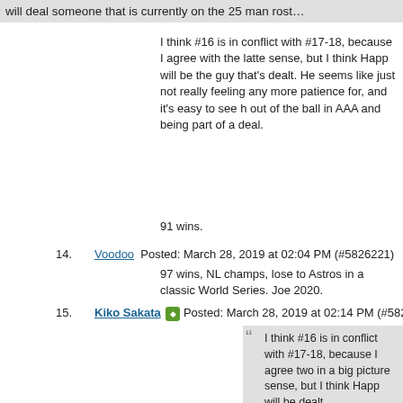will deal someone that is currently on the 25 man rost...
I think #16 is in conflict with #17-18, because I agree with the latte sense, but I think Happ will be the guy that's dealt. He seems like just not really feeling any more patience for, and it's easy to see h out of the ball in AAA and being part of a deal.
91 wins.
14. Voodoo Posted: March 28, 2019 at 02:04 PM (#5826221)
97 wins, NL champs, lose to Astros in a classic World Series. Joe 2020.
15. Kiko Sakata Posted: March 28, 2019 at 02:14 PM (#5826225)
I think #16 is in conflict with #17-18, because I agree two in a big picture sense, but I think Happ will be dealt.
Including Happ in the deal doesn't satisfy #18. Happ's not on the roster.
16. Moses Taylor loves a good maim Posted: March 28, 2019 at 03:26 ...
I think my comment in 16 is more about Zobrist than Happ. I'd exp year for Zo and/or him having to really be spotted in his PT. 2b is fill, but I kept it generic because any OF spot could also involve a